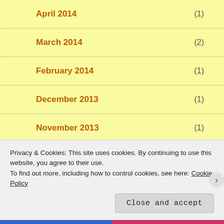April 2014 (1)
March 2014 (2)
February 2014 (1)
December 2013 (1)
November 2013 (1)
October 2013 (1)
August 2013 (3)
Privacy & Cookies: This site uses cookies. By continuing to use this website, you agree to their use.
To find out more, including how to control cookies, see here: Cookie Policy